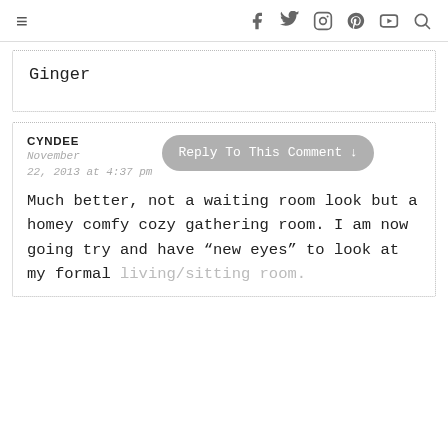≡  f  t  ⊙  ℗  ▶  🔍
Ginger
CYNDEE
November 22, 2013 at 4:37 pm
Reply To This Comment ↓
Much better, not a waiting room look but a homey comfy cozy gathering room. I am now going try and have "new eyes" to look at my formal living/sitting room.